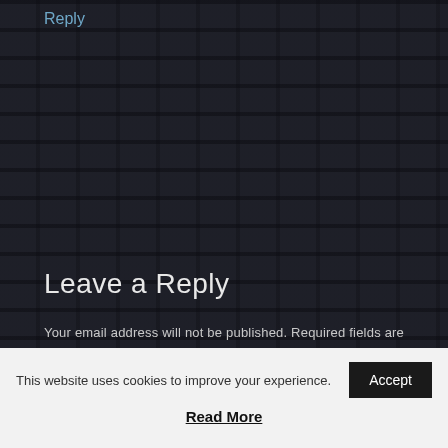Reply
Leave a Reply
Your email address will not be published. Required fields are marked *
Comment
This website uses cookies to improve your experience.
Read More